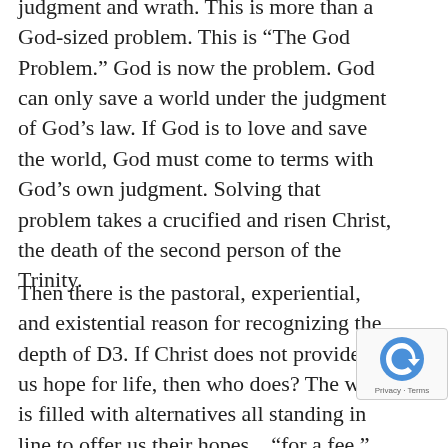judgment and wrath. This is more than a God-sized problem. This is “The God Problem.” God is now the problem. God can only save a world under the judgment of God’s law. If God is to love and save the world, God must come to terms with God’s own judgment. Solving that problem takes a crucified and risen Christ, the death of the second person of the Trinity.
Then there is the pastoral, experiential, and existential reason for recognizing the depth of D3. If Christ does not provide for us hope for life, then who does? The world is filled with alternatives all standing in line to offer us their hopes…”for a fee.” Of course, it is up to us come up with the fee. It is up to us to make the law work. We still